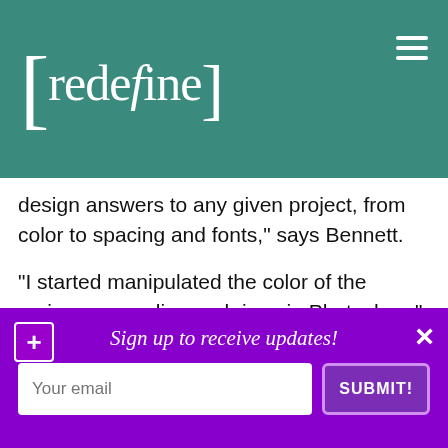[redefine]
design answers to any given project, from color to spacing and fonts,” says Bennett.
“I started manipulated the color of the various spray diamond rings in Photoshop,” says Wilson. “Then I started manipulated the diamond itself, layering two different diamonds at various transparencies on top of one another. Everything clicked pretty quickly. My only requirement for the type was to be simple
Sign up to receive updates!